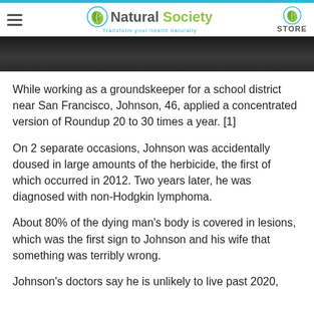Natural Society — Transform your health naturally | STORE
[Figure (photo): Partial photo of a person in dark clothing, cropped at top of page]
While working as a groundskeeper for a school district near San Francisco, Johnson, 46, applied a concentrated version of Roundup 20 to 30 times a year. [1]
On 2 separate occasions, Johnson was accidentally doused in large amounts of the herbicide, the first of which occurred in 2012. Two years later, he was diagnosed with non-Hodgkin lymphoma.
About 80% of the dying man's body is covered in lesions, which was the first sign to Johnson and his wife that something was terribly wrong.
Johnson's doctors say he is unlikely to live past 2020,